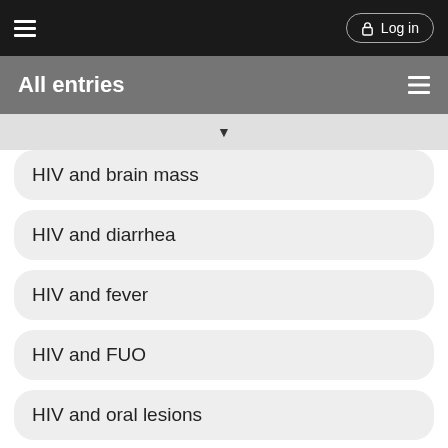Log in
All entries
HIV and brain mass
HIV and diarrhea
HIV and fever
HIV and FUO
HIV and oral lesions
HIV and pulmonary infiltrates
HIV and renal failure